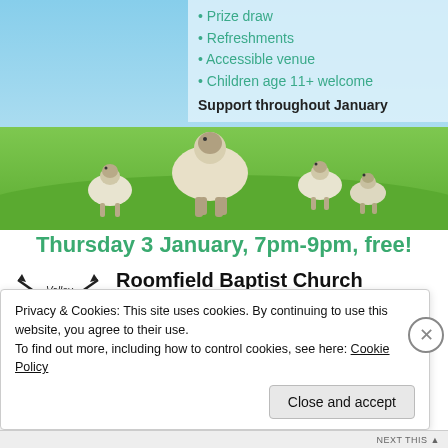[Figure (photo): Top portion of a vegan event flyer showing sheep and lambs on green grass with blue sky, with teal bullet points: Prize draw, Refreshments, Accessible venue, Children age 11+ welcome, and bold text 'Support throughout January']
Thursday 3 January, 7pm-9pm, free!
[Figure (logo): 3 Valley Vegans logo with arrows]
Roomfield Baptist Church
Halifax Rd, Todmorden OL14 5BE
Near Lidl bus stop 590, 592, T3, T4, T8
3valleyvegns.org.uk   /3valleyvgns
Privacy & Cookies: This site uses cookies. By continuing to use this website, you agree to their use.
To find out more, including how to control cookies, see here: Cookie Policy
Close and accept